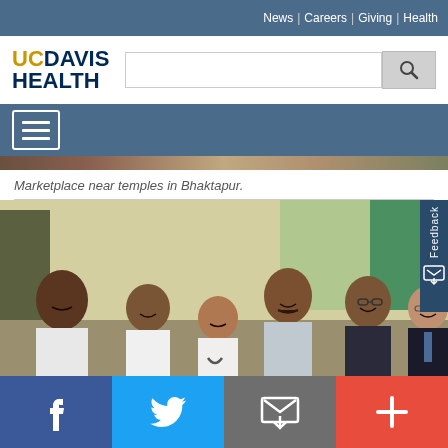News | Careers | Giving | Health
[Figure (logo): UC Davis Health logo with yellow 'UC' and blue 'DAVIS HEALTH' text]
[Figure (screenshot): Search bar with magnifying glass icon]
[Figure (infographic): Hamburger menu icon (three horizontal lines) in a box]
[Figure (photo): Marketplace near temples in Bhaktapur - partially visible]
Marketplace near temples in Bhaktapur.
[Figure (photo): Group photo of medical professionals including doctors in white coats and a man in a suit, likely at a hospital in Nepal]
Facebook | Twitter | Email | Add